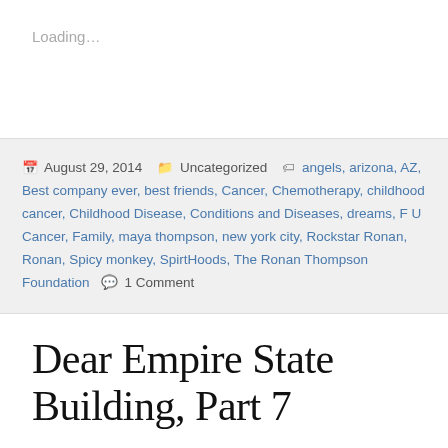Loading...
August 29, 2014   Uncategorized   angels, arizona, AZ, Best company ever, best friends, Cancer, Chemotherapy, childhood cancer, Childhood Disease, Conditions and Diseases, dreams, F U Cancer, Family, maya thompson, new york city, Rockstar Ronan, Ronan, Spicy monkey, SpirtHoods, The Ronan Thompson Foundation   1 Comment
Dear Empire State Building, Part 7
[Figure (photo): Partial view of a colorful photograph, showing warm orange and red tones with dark blue/black background at top, partially cropped at bottom of page]